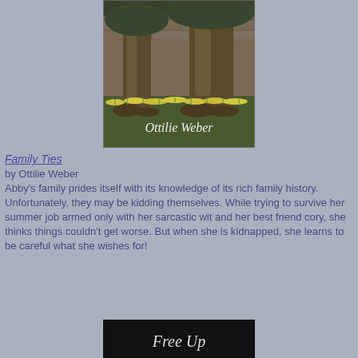[Figure (illustration): Book cover for 'Family Ties' by Ottilie Weber, showing large oak trees with daffodils in the foreground and author name in cursive script]
Family Ties
by Ottilie Weber
Abby's family prides itself with its knowledge of its rich family history. Unfortunately, they may be kidding themselves. While trying to survive her summer job armed only with her sarcastic wit and her best friend cory, she thinks things couldn't get worse. But when she is kidnapped, she learns to be careful what she wishes for!
[Figure (photo): Bottom portion of another book cover with black background and partial white script text reading 'Free Up' or similar]